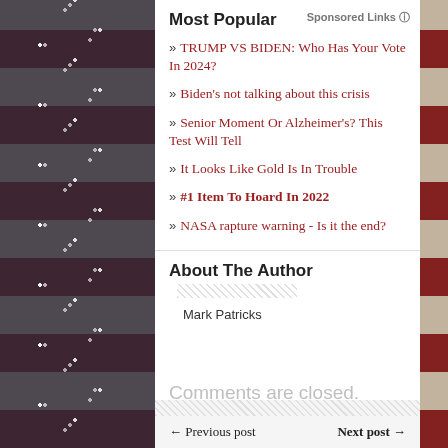[Figure (photo): American flag background with stars and stripes, faded/vintage look, occupying left portion and right edge of page]
Most Popular
Sponsored Links ℹ
» TRUMP VS BIDEN: Who Has Your Vote In 2024?
» Biden's not talking about this crisis
» Senior Moment Or Alzheimer's? This Test Will Tell
» It Looks Like Gold Is In Trouble
» #1 Item To Hoard In 2022
» NASA rapture warning - Is it the end?
About The Author
Mark Patricks
Comments are closed.
← Previous post   Next post →